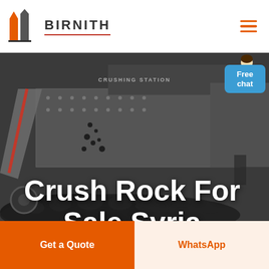[Figure (logo): Birnith company logo with orange and grey building/pillar icon and brand name BIRNITH in bold letters with red underline]
[Figure (photo): Industrial rock crushing station machinery with conveyor belt, large equipment processing black rocks/coal, workers visible on right side. Dark moody industrial scene.]
Crush Rock For Sale Syria
Free chat
Get a Quote
WhatsApp